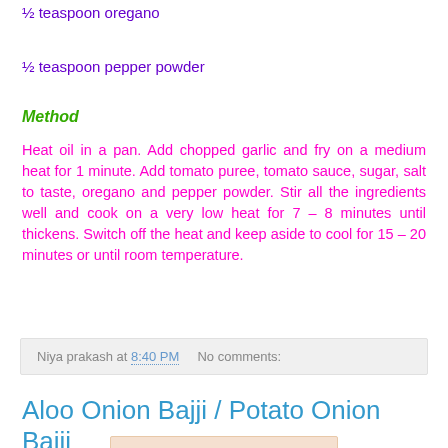½ teaspoon oregano
½ teaspoon pepper powder
Method
Heat oil in a pan. Add chopped garlic and fry on a medium heat for 1 minute. Add tomato puree, tomato sauce, sugar, salt to taste, oregano and pepper powder. Stir all the ingredients well and cook on a very low heat for 7 – 8 minutes until thickens. Switch off the heat and keep aside to cool for 15 – 20 minutes or until room temperature.
Niya prakash at 8:40 PM   No comments:
Aloo Onion Bajji / Potato Onion Bajji
[Figure (photo): Photo of Aloo Onion Bajji / Potato Onion Bajji dish, partially visible at bottom of page]